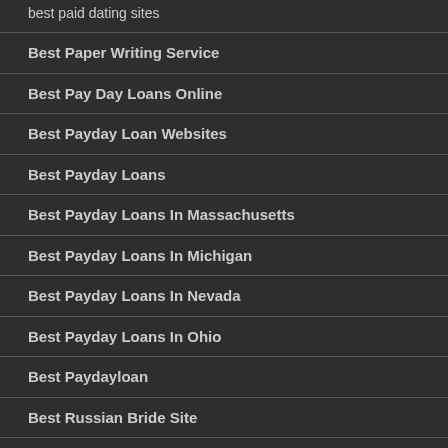best paid dating sites
Best Paper Writing Service
Best Pay Day Loans Online
Best Payday Loan Websites
Best Payday Loans
Best Payday Loans In Massachusetts
Best Payday Loans In Michigan
Best Payday Loans In Nevada
Best Payday Loans In Ohio
Best Paydayloan
Best Russian Bride Site